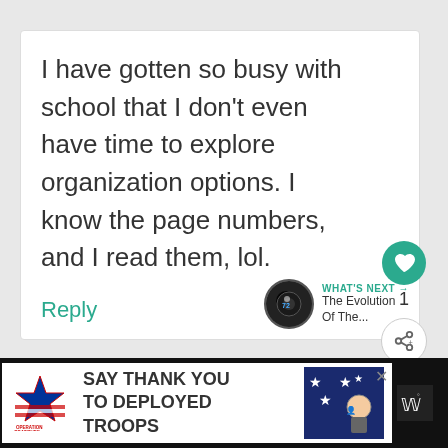I have gotten so busy with school that I don't even have time to explore organization options. I know the page numbers, and I read them, lol.
Reply
[Figure (screenshot): Heart/like button (teal circle with heart icon), count '1', and share button below]
[Figure (infographic): What's Next panel with circular thumbnail and text 'The Evolution Of The...']
[Figure (infographic): Operation Gratitude ad: SAY THANK YOU TO DEPLOYED TROOPS with patriotic imagery]